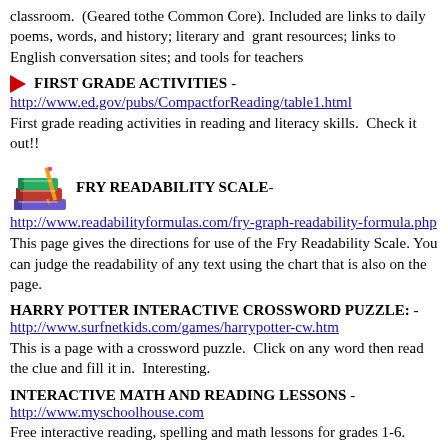classroom. (Geared tothe Common Core). Included are links to daily poems, words, and history; literary and grant resources; links to English conversation sites; and tools for teachers
FIRST GRADE ACTIVITIES - http://www.ed.gov/pubs/CompactforReading/table1.html
First grade reading activities in reading and literacy skills. Check it out!!
FRY READABILITY SCALE - http://www.readabilityformulas.com/fry-graph-readability-formula.php
This page gives the directions for use of the Fry Readability Scale. You can judge the readability of any text using the chart that is also on the page.
HARRY POTTER INTERACTIVE CROSSWORD PUZZLE: - http://www.surfnetkids.com/games/harrypotter-cw.htm
This is a page with a crossword puzzle. Click on any word then read the clue and fill it in. Interesting.
INTERACTIVE MATH AND READING LESSONS - http://www.myschoolhouse.com
Free interactive reading, spelling and math lessons for grades 1-6.